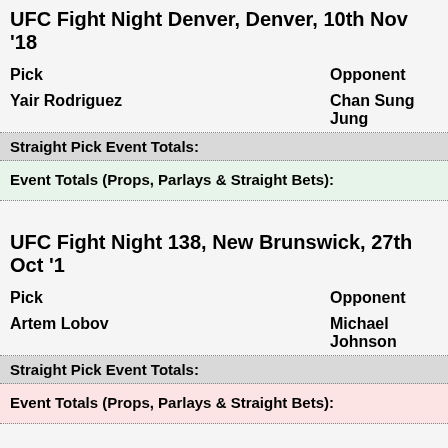UFC Fight Night Denver, Denver, 10th Nov '18
Pick    Opponent
Yair Rodriguez    Chan Sung Jung
Straight Pick Event Totals:
Event Totals (Props, Parlays & Straight Bets):
UFC Fight Night 138, New Brunswick, 27th Oct '1
Pick    Opponent
Artem Lobov    Michael Johnson
Straight Pick Event Totals:
Event Totals (Props, Parlays & Straight Bets):
UFC 229, Las Vegas, 6th Oct '18